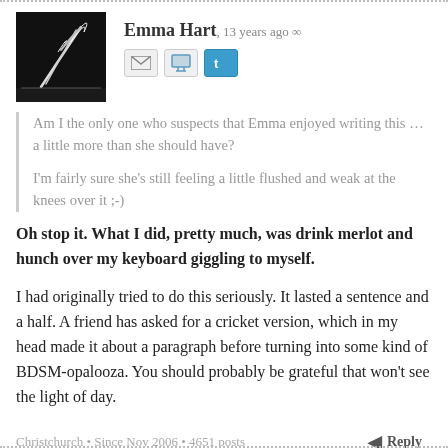[Figure (photo): Black and white avatar image showing a feather quill pen, used as user profile picture for Emma Hart]
Emma Hart, 13 years ago ∞
Am I the only one who suspects that Emma enjoyed writing this … a little more than she should have?

I'm fairly sure she's still feeling a little flushed and weak at the knees over it ;-)
Oh stop it. What I did, pretty much, was drink merlot and hunch over my keyboard giggling to myself.
I had originally tried to do this seriously. It lasted a sentence and a half. A friend has asked for a cricket version, which in my head made it about a paragraph before turning into some kind of BDSM-opalooza. You should probably be grateful that won't see the light of day.
Christchurch • Since Nov 2006 • 4651 posts